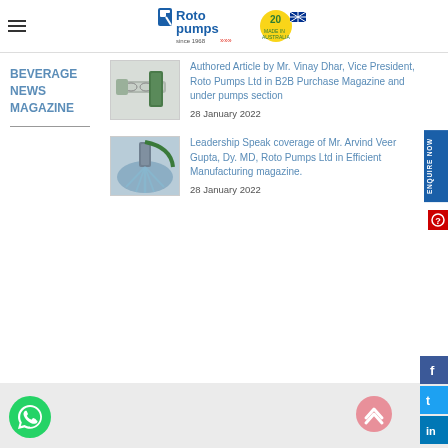[Figure (logo): Roto Pumps logo with 'since 1968' tagline and 20 years Made in Australia badge]
BEVERAGE NEWS MAGAZINE
[Figure (photo): Industrial pump equipment - green and grey screw/auger pump]
Authored Article by Mr. Vinay Dhar, Vice President, Roto Pumps Ltd in B2B Purchase Magazine and under pumps section
28 January 2022
[Figure (photo): Industrial pump/drilling machine spraying water]
Leadership Speak coverage of Mr. Arvind Veer Gupta, Dy. MD, Roto Pumps Ltd in Efficient Manufacturing magazine.
28 January 2022